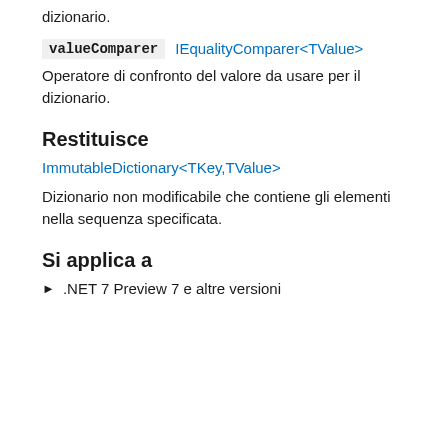dizionario.
valueComparer   IEqualityComparer<TValue>
Operatore di confronto del valore da usare per il dizionario.
Restituisce
ImmutableDictionary<TKey,TValue>
Dizionario non modificabile che contiene gli elementi nella sequenza specificata.
Si applica a
.NET 7 Preview 7 e altre versioni